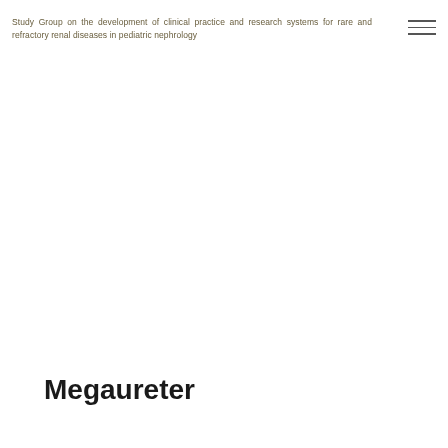Study Group on the development of clinical practice and research systems for rare and refractory renal diseases in pediatric nephrology
Megaureter